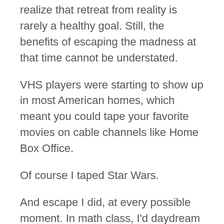realize that retreat from reality is rarely a healthy goal. Still, the benefits of escaping the madness at that time cannot be understated.
VHS players were starting to show up in most American homes, which meant you could tape your favorite movies on cable channels like Home Box Office.
Of course I taped Star Wars.
And escape I did, at every possible moment. In math class, I'd daydream